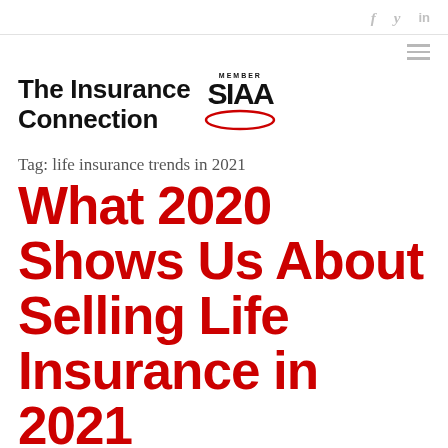f  y  in
[Figure (logo): The Insurance Connection with SIAA Member logo]
Tag: life insurance trends in 2021
What 2020 Shows Us About Selling Life Insurance in 2021
May 12, 2021